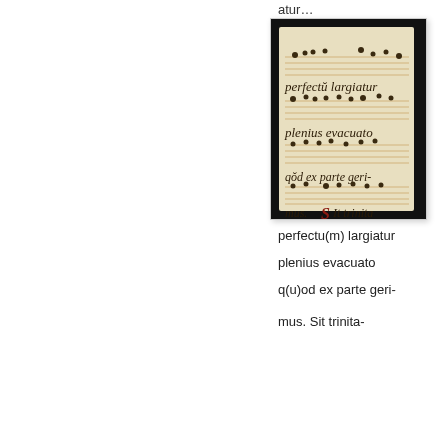atur…
[Figure (photo): A photograph of a medieval illuminated manuscript page showing Gregorian chant notation (square neumes on a four-line staff) with Latin text: 'perfectŭ largiatur / plenius evacuato / qŏd ex parte geri- / mus. Sit trinita- / ti ŝepiterna gloria']
perfectu(m) largiatur
plenius evacuato
q(u)od ex parte geri-
mus. Sit trinita-